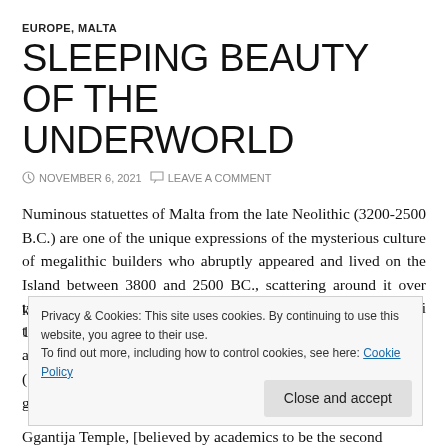EUROPE, MALTA
SLEEPING BEAUTY OF THE UNDERWORLD
NOVEMBER 6, 2021   LEAVE A COMMENT
Numinous statuettes of Malta from the late Neolithic (3200-2500 B.C.) are one of the unique expressions of the mysterious culture of megalithic builders who abruptly appeared and lived on the Island between 3800 and 2500 BC., scattering around it over twenty constructions, today referred to as temples (Biaggi 1986:131; Magli 2009:49). For this reason the period
Privacy & Cookies: This site uses cookies. By continuing to use this website, you agree to their use.
To find out more, including how to control cookies, see here: Cookie Policy
Ggantija Temple, [believed by academics to be the second